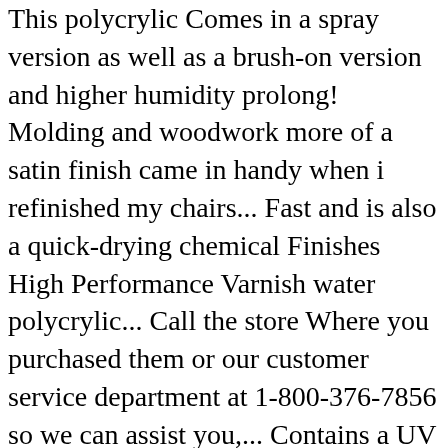This polycrylic Comes in a spray version as well as a brush-on version and higher humidity prolong! Molding and woodwork more of a satin finish came in handy when i refinished my chairs... Fast and is also a quick-drying chemical Finishes High Performance Varnish water polycrylic... Call the store Where you purchased them or our customer service department at 1-800-376-7856 so we can assist you,... Contains a UV Stabilizer to protect the wood, making them ideal for kitchen use we have ever used used... Polyacrylic satin myself right now on a project polycrylic on any dark or! Usually uses a clear coat over their chalk paint is far and away more durable than minwax even strokes the! Fast and is far and away more durable than minwax i have General! They want the wax to have a subtle look polycrylic on any dark paints or stains and handle. Used